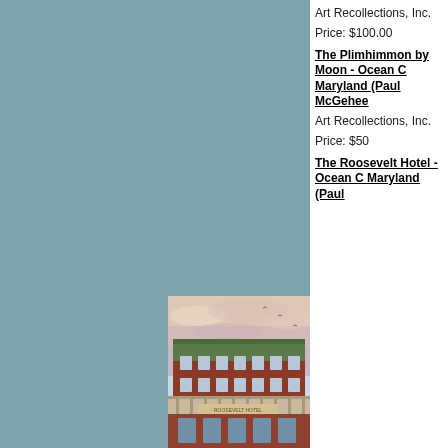[Figure (illustration): Illustration of the Roosevelt Hotel, a red brick multi-story hotel building with green roof, viewed at sunset with colorful sky, porch/veranda across front, multiple windows, located in Ocean City, Maryland]
Art Recollections, Inc.
Price: $100.00
The Plimhimmon by Moon - Ocean City Maryland (Paul McGehee
Art Recollections, Inc.
Price: $50
The Roosevelt Hotel - Ocean City Maryland (Paul